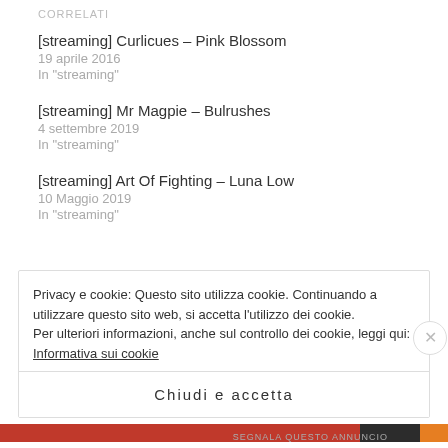CORRELATI
[streaming] Curlicues – Pink Blossom
19 aprile 2016
In "streaming"
[streaming] Mr Magpie – Bulrushes
4 settembre 2019
In "streaming"
[streaming] Art Of Fighting – Luna Low
10 Maggio 2019
In "streaming"
Privacy e cookie: Questo sito utilizza cookie. Continuando a utilizzare questo sito web, si accetta l'utilizzo dei cookie.
Per ulteriori informazioni, anche sul controllo dei cookie, leggi qui:
Informativa sui cookie
Chiudi e accetta